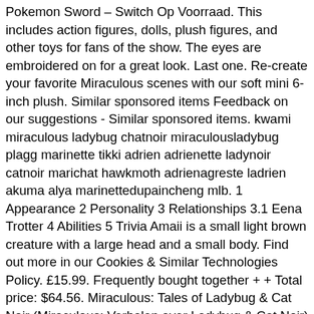Pokemon Sword – Switch Op Voorraad. This includes action figures, dolls, plush figures, and other toys for fans of the show. The eyes are embroidered on for a great look. Last one. Re-create your favorite Miraculous scenes with our soft mini 6-inch plush. Similar sponsored items Feedback on our suggestions - Similar sponsored items. kwami miraculous ladybug chatnoir miraculousladybug plagg marinette tikki adrien adrienette ladynoir catnoir marichat hawkmoth adrienagreste ladrien akuma alya marinettedupaincheng mlb. 1 Appearance 2 Personality 3 Relationships 3.1 Eena Trotter 4 Abilities 5 Trivia Amaii is a small light brown creature with a large head and a small body. Find out more in our Cookies & Similar Technologies Policy. £15.99. Frequently bought together + + Total price: $64.56. Miraculous: Tales of Ladybug & Cat Noir (Miraculous: Verhalen over Ladybug & Cat Noir) is een computer-geanimeerde avonturenserie van de Franse Zagtoon-studio.In Nederland en Vlaanderen wordt de serie sinds 2016 uitgezonden op Disney Channel en ... Favorite Add to Rainbow Holo Unicorn Pony Plush -- Furrmiliars theFCshop $ 42.00. You can hug Tikki and take her with you on all your adventures. Miraculous Ladybug Tikki Soft Plush doll.